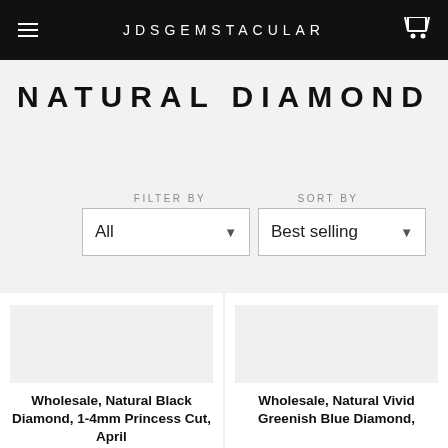JDSGEMSTACULAR
NATURAL DIAMOND
FILTER BY
SORT BY
All
Best selling
Wholesale, Natural Black Diamond, 1-4mm Princess Cut, April
Wholesale, Natural Vivid Greenish Blue Diamond,